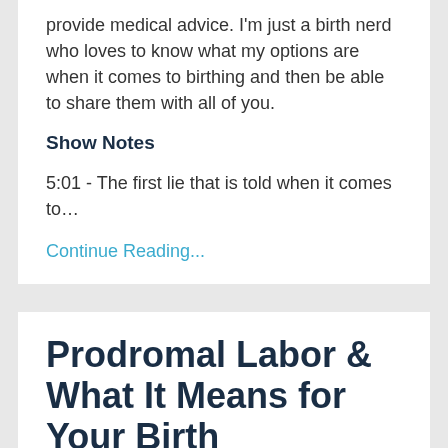provide medical advice. I'm just a birth nerd who loves to know what my options are when it comes to birthing and then be able to share them with all of you.
Show Notes
5:01 - The first lie that is told when it comes to…
Continue Reading...
Prodromal Labor & What It Means for Your Birth
3 Free Exercises, 3rd Trimester, Advice, Baby, Birth, Birth Education, Birth Options, Birth Prep,